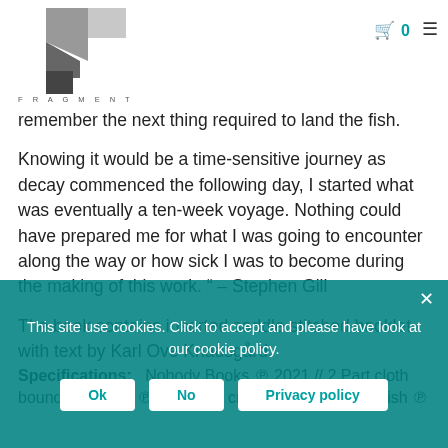[Figure (logo): Fragment bookshop logo — geometric grey/charcoal overlapping quadrilateral shapes with text FRAGMENT below]
remember the next thing required to land the fish.
Knowing it would be a time-sensitive journey as decay commenced the following day, I started what was eventually a ten-week voyage. Nothing could have prepared me for what I was going to encounter along the way or how sick I was to become during the making of this work. " – Stephen Gill
The book contains inserted saddle stitched booklet with text by Karl Ove Knausgård.
Specifications:  Nobody Books ℗ 2021 // 2 Part cloth bound hardback ℗ 21,6 x 21 cm / 165 pages // English ℗
This site use cookies. Click to accept and please have look at our cookie policy.